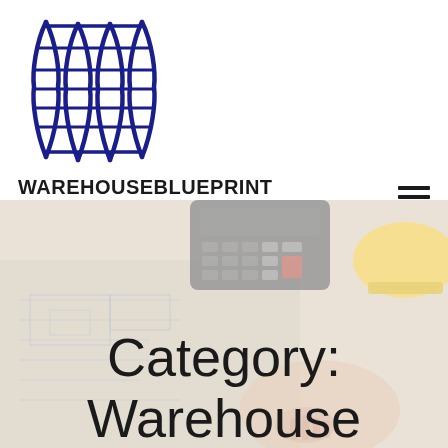[Figure (logo): WarehouseBlueprint logo: stylized dark navy blue warehouse shelving/rack structure with vertical curved columns and horizontal crossbars]
WAREHOUSEBLUEPRINT
WAREHOUSE VISUALIZATION MADE SIMPLE
[Figure (illustration): Background photo of architectural blueprints on a desk with a calculator, a hand, and a yellow hard hat, faded/washed out with white overlay. Text overlay reads 'Category: Warehouse']
Category:
Warehouse